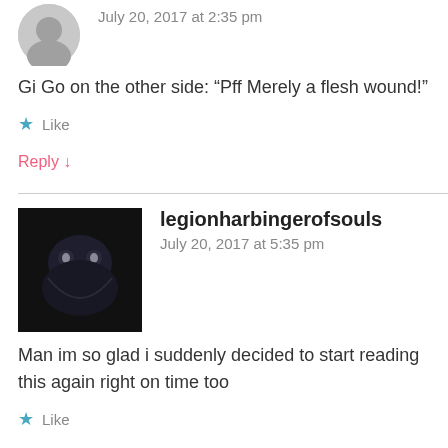July 20, 2017 at 2:35 pm
Gi Go on the other side: “Pff Merely a flesh wound!”
Like
Reply ↓
legionharbingerofsouls
July 20, 2017 at 5:35 pm
Man im so glad i suddenly decided to start reading this again right on time too
Like
Reply ↓